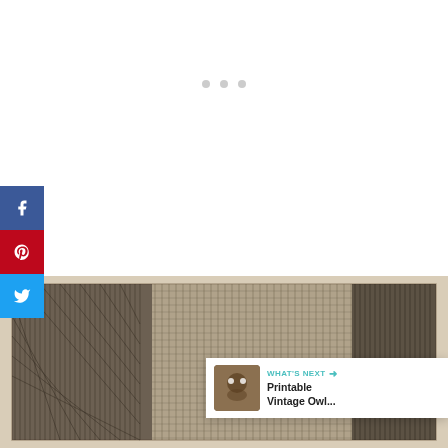[Figure (screenshot): Loading indicator with three small grey dots centered on white background]
[Figure (screenshot): Social media sharing sidebar with Facebook (blue), Pinterest (red), and Twitter (light blue) buttons]
[Figure (screenshot): Heart/save button in teal showing 7.9K saves, and a share button below]
7.9K
[Figure (illustration): Vintage hatching/crosshatch illustration visible at bottom of page, dense black linework on cream background]
[Figure (screenshot): What's Next banner showing thumbnail of vintage owl image with label 'WHAT'S NEXT' and title 'Printable Vintage Owl...']